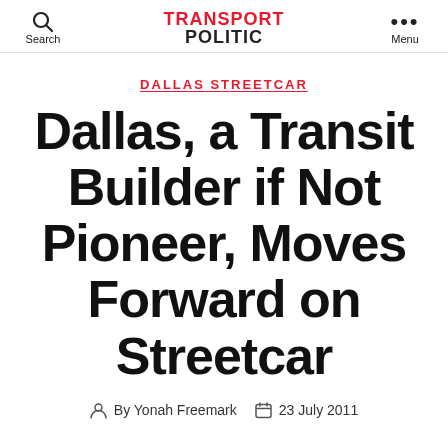Search | TRANSPORT POLITIC | Menu
DALLAS STREETCAR
Dallas, a Transit Builder if Not Pioneer, Moves Forward on Streetcar
By Yonah Freemark   23 July 2011